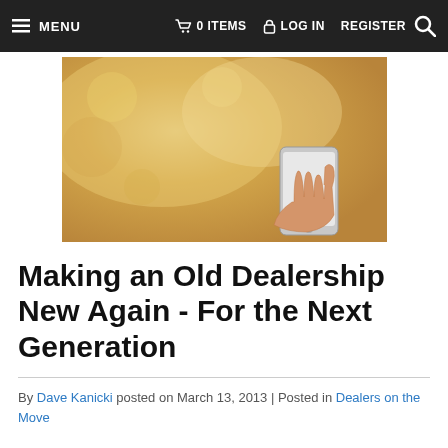≡ MENU   🛒 0 ITEMS   🔒 LOG IN   REGISTER   🔍
[Figure (photo): A person holding a smartphone against a blurred golden wheat field background.]
Making an Old Dealership New Again - For the Next Generation
By Dave Kanicki posted on March 13, 2013 | Posted in Dealers on the Move